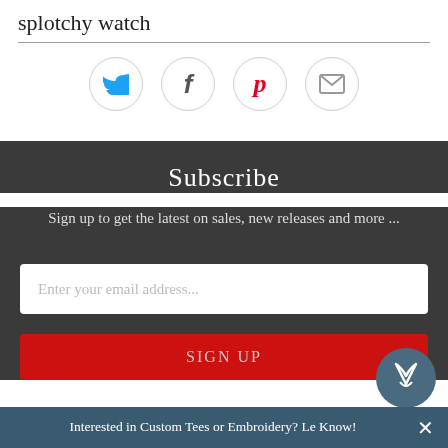splotchy watch
[Figure (infographic): Four social sharing icons in circles: Twitter (bird icon, blue), Facebook (f, dark), Pinterest (p, red), Email (envelope, gray)]
Subscribe
Sign up to get the latest on sales, new releases and more ...
Enter your email address...
SIGN UP
Interested in Custom Tees or Embroidery? Let us Know!